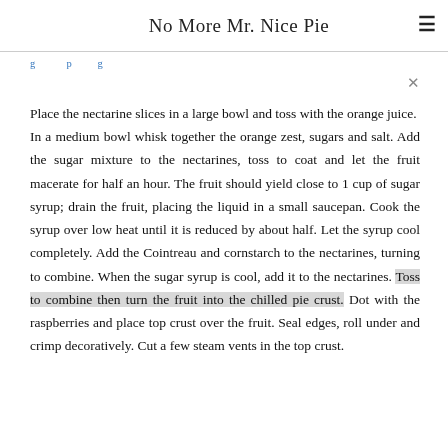No More Mr. Nice Pie
Place the nectarine slices in a large bowl and toss with the orange juice.  In a medium bowl whisk together the orange zest, sugars and salt. Add the sugar mixture to the nectarines, toss to coat and let the fruit macerate for half an hour. The fruit should yield close to 1 cup of sugar syrup; drain the fruit, placing the liquid in a small saucepan. Cook the syrup over low heat until it is reduced by about half. Let the syrup cool completely. Add the Cointreau and cornstarch to the nectarines, turning to combine. When the sugar syrup is cool, add it to the nectarines. Toss to combine then turn the fruit into the chilled pie crust. Dot with the raspberries and place top crust over the fruit. Seal edges, roll under and crimp decoratively. Cut a few steam vents in the top crust.